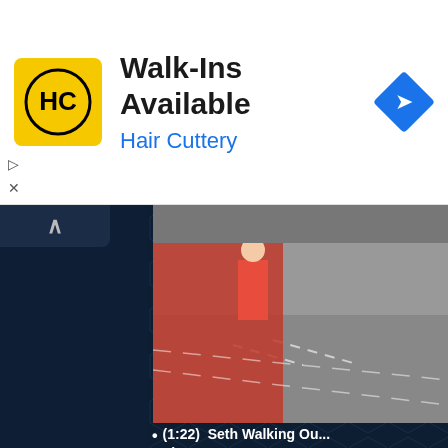[Figure (screenshot): Advertisement banner for Hair Cuttery showing the Hair Cuttery logo (HC in black on yellow background), bold text 'Walk-Ins Available', brand name 'Hair Cuttery' in blue, and a blue navigation/directions diamond icon on the right. Small play and X controls visible on the left edge.]
[Figure (screenshot): Dark navy/dark blue interface panel (appears to be a video platform or app UI) with a collapsed left sidebar showing a chevron/up arrow button, a dark background with subtle hexagonal pattern, a partial video thumbnail in the top-right showing a figure in red on a street, a list item reading '(1:22) Seth Walking Ou... Figueroa Street, Los An...' with a bullet point, and a second video thumbnail at the bottom showing a tunnel/architectural ceiling with arches and figures below.]
(1:22)  Seth Walking Ou... Figueroa Street, Los An...